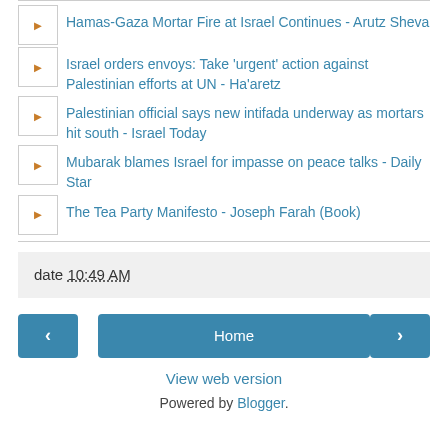Hamas-Gaza Mortar Fire at Israel Continues - Arutz Sheva
Israel orders envoys: Take 'urgent' action against Palestinian efforts at UN - Ha'aretz
Palestinian official says new intifada underway as mortars hit south - Israel Today
Mubarak blames Israel for impasse on peace talks - Daily Star
The Tea Party Manifesto - Joseph Farah (Book)
date 10:49 AM
Home
View web version
Powered by Blogger.